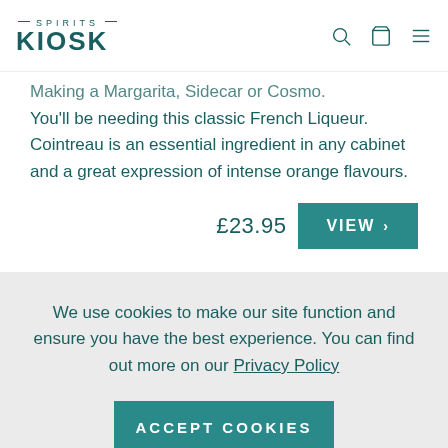SPIRITS KIOSK
Making a Margarita, Sidecar or Cosmo? You'll be needing this classic French Liqueur. Cointreau is an essential ingredient in any cabinet and a great expression of intense orange flavours.
£23.95  VIEW >
We use cookies to make our site function and ensure you have the best experience. You can find out more on our Privacy Policy
ACCEPT COOKIES